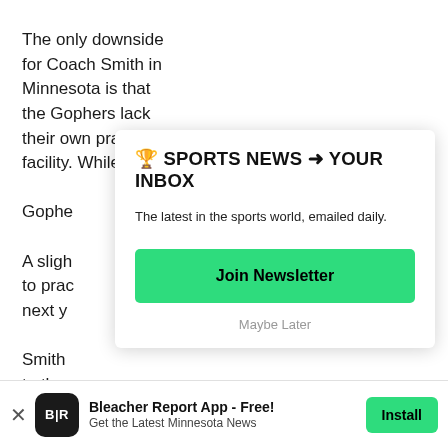The only downside for Coach Smith in Minnesota is that the Gophers lack their own practice facility.  While comm Gophe A sligh to prac next y Smith to the conter give S In eac
[Figure (infographic): Newsletter signup modal overlay with title '🏆 SPORTS NEWS ➜ YOUR INBOX', subtitle 'The latest in the sports world, emailed daily.', a green 'Join Newsletter' button, and 'Maybe Later' text link.]
[Figure (infographic): Bottom app banner: Bleacher Report App logo (BR on dark background), text 'Bleacher Report App - Free! Get the Latest Minnesota News', and a green 'Install' button. X close button on left.]